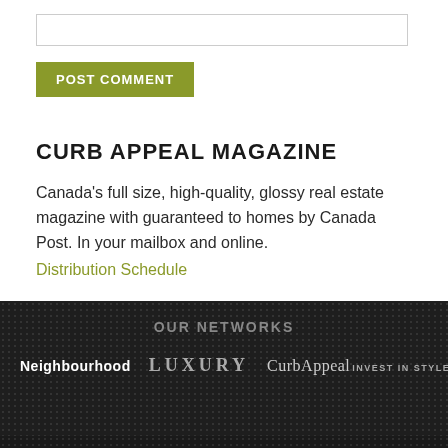[input box]
POST COMMENT
CURB APPEAL MAGAZINE
Canada's full size, high-quality, glossy real estate magazine with guaranteed to homes by Canada Post. In your mailbox and online.
Distribution Schedule
OUR NETWORKS
[Figure (logo): Network logos: Neighbourhood, LUXURY, CurbAppeal, INVEST IN STYLE]
Contact Us